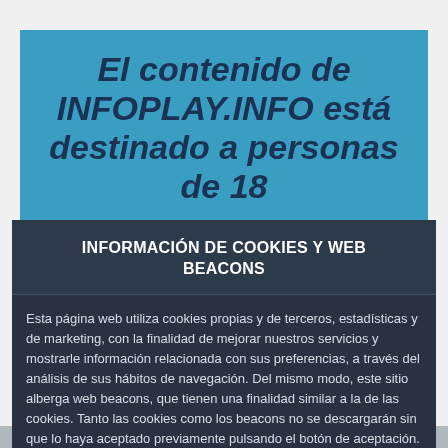El contenido de INFOPLAY.INFO está destinado a personas de 18
Por favor, confirma que cumples la mayoría de edad para continuar a INFOPLAY.INFO
INFORMACIÓN DE COOKIES Y WEB BEACONS
Esta página web utiliza cookies propias y de terceros, estadísticas y de marketing, con la finalidad de mejorar nuestros servicios y mostrarle información relacionada con sus preferencias, a través del análisis de sus hábitos de navegación. Del mismo modo, este sitio alberga web beacons, que tienen una finalidad similar a la de las cookies. Tanto las cookies como los beacons no se descargarán sin que lo haya aceptado previamente pulsando el botón de aceptación.
ACEPTO
No, volver atrás